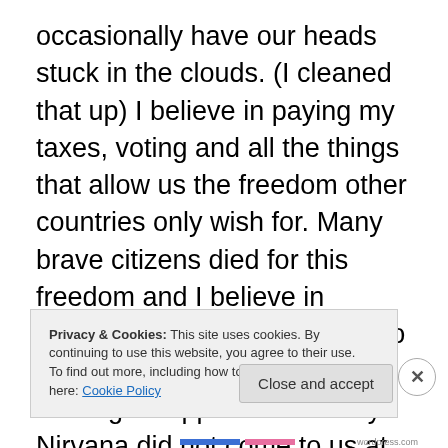occasionally have our heads stuck in the clouds. (I cleaned that up) I believe in paying my taxes, voting and all the things that allow us the freedom other countries only wish for. Many brave citizens died for this freedom and I believe in honoring those Americans who made it happen and who are making it happen even today. Nirvana did not come to us at our last election – it never does. Promises made were empty – as are all political promises. We need to remember that the President does not make the economy, but the economy defines the presidency. We elected a man – not a god. We also need
Privacy & Cookies: This site uses cookies. By continuing to use this website, you agree to their use.
To find out more, including how to control cookies, see here: Cookie Policy
Close and accept
wordpress.com